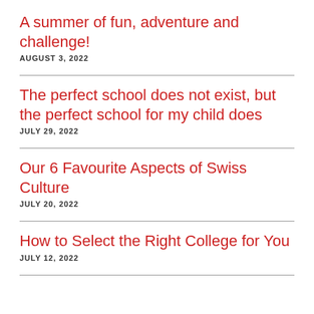A summer of fun, adventure and challenge!
AUGUST 3, 2022
The perfect school does not exist, but the perfect school for my child does
JULY 29, 2022
Our 6 Favourite Aspects of Swiss Culture
JULY 20, 2022
How to Select the Right College for You
JULY 12, 2022